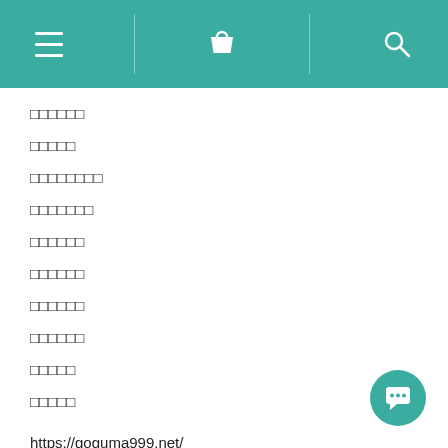[navigation bar with hamburger menu, bag icon, and search icon]
□□□□□□
□□□□□
□□□□□□□□
□□□□□□□
□□□□□□
□□□□□□
□□□□□□
□□□□□□
□□□□□
□□□□□
https://goguma999.net/
https://gamja888.com/
https://instagrme.com/
https://pr223.net/